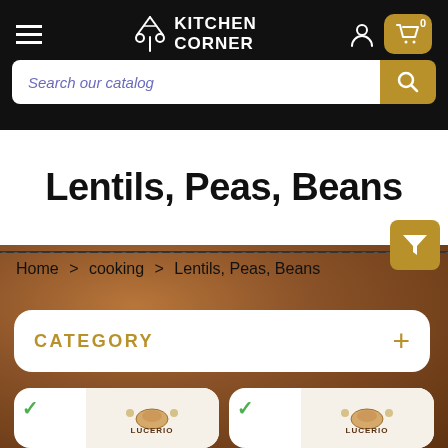[Figure (screenshot): Kitchen Corner website header with navigation bar (hamburger menu, logo, person icon, cart badge showing 0), search bar with 'Search our catalog' placeholder text and a gold search button]
Lentils, Peas, Beans
Home > cooking > Lentils, Peas, Beans
CATEGORY
[Figure (photo): Two partially visible product cards with green checkmarks and Lucerio brand product logos, shown at the bottom of the page on a brown lentil background]